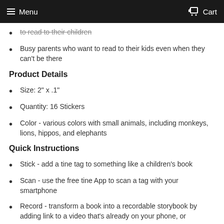Menu  Cart
to read to their children
Busy parents who want to read to their kids even when they can't be there
Product Details
Size: 2" x .1"
Quantity: 16 Stickers
Color - various colors with small animals, including monkeys, lions, hippos, and elephants
Quick Instructions
Stick - add a tine tag to something like a children's book
Scan - use the free tine App to scan a tag with your smartphone
Record - transform a book into a recordable storybook by adding link to a video that's already on your phone, or